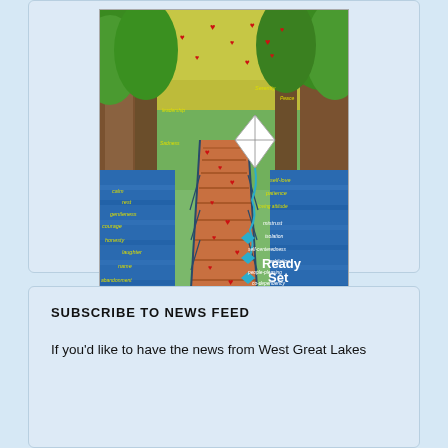[Figure (illustration): Colorful illustration of a wooden boardwalk path through a forest scene with blue water on both sides. Trees with green foliage frame the scene. Red hearts float in the air. A white diamond-shaped kite with a teal bow tail is prominent on the right. Yellow words on the left side include: courage, calm, rest, gentleness, honesty, laughter, name, abandonment, fear. Yellow/white words on the right side include: Serenity, Peace, self-love, patience, loving attitude, mistrust, isolation, self-centeredness, addiction, people-pleasing, co-dependency, stuffed feelings, perfectionism. Bold white text at bottom right reads 'Ready Set GO!!'. An ACA (Adult Children of Alcoholics) triangular logo is at bottom left.]
SUBSCRIBE TO NEWS FEED
If you'd like to have the news from West Great Lakes